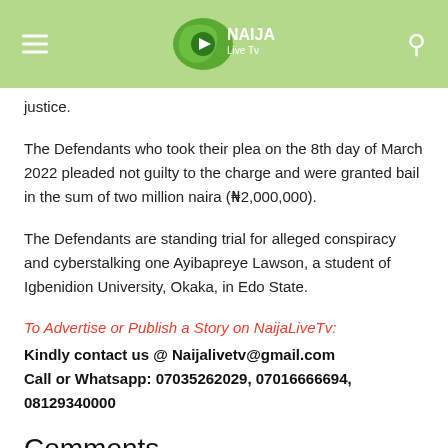NAIJA Live Tv
justice.
The Defendants who took their plea on the 8th day of March 2022 pleaded not guilty to the charge and were granted bail in the sum of two million naira (₦2,000,000).
The Defendants are standing trial for alleged conspiracy and cyberstalking one Ayibapreye Lawson, a student of Igbenidion University, Okaka, in Edo State.
To Advertise or Publish a Story on NaijaLiveTv:
Kindly contact us @ Naijalivetv@gmail.com
Call or Whatsapp: 07035262029, 07016666694, 08129340000
Comments